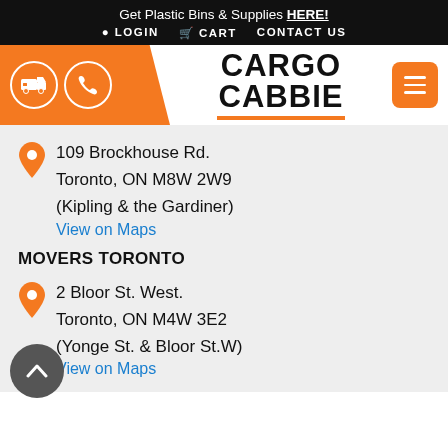Get Plastic Bins & Supplies HERE! LOGIN CART CONTACT US
[Figure (logo): Cargo Cabbie logo with orange truck and phone icons]
109 Brockhouse Rd.
Toronto, ON M8W 2W9
(Kipling & the Gardiner)
View on Maps
MOVERS TORONTO
2 Bloor St. West.
Toronto, ON M4W 3E2
(Yonge St. & Bloor St.W)
View on Maps